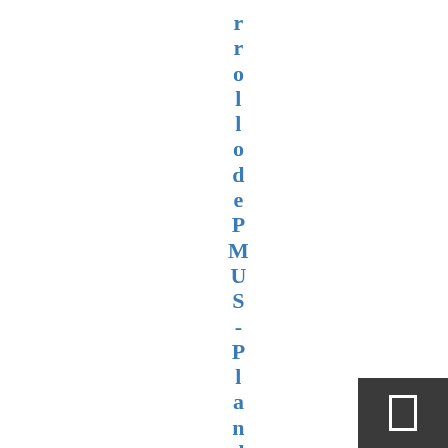rrollodePMUS-Plandemo v
[Figure (other): Dark grey rectangle in bottom-right corner containing a white outlined rectangle icon]